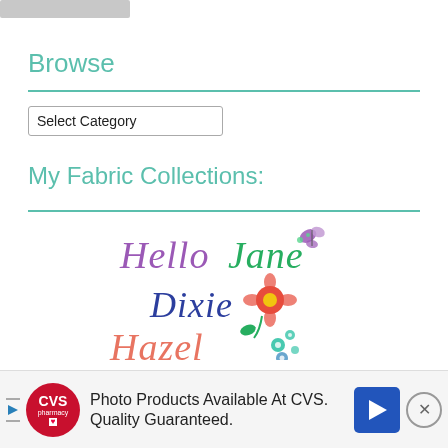[Figure (other): Partially visible blurred image at top left corner]
Browse
Select Category (dropdown)
My Fabric Collections:
[Figure (logo): Fabric collections logo image showing 'Hello Jane' in purple script with butterfly, 'Dixie' in blue script with red flower, and 'Hazel' in coral script with teal flowers]
[Figure (other): CVS advertisement banner: Photo Products Available At CVS. Quality Guaranteed.]